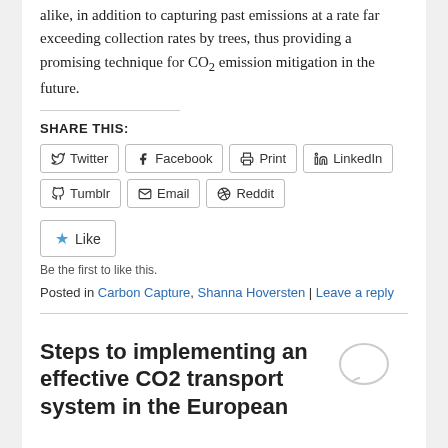alike, in addition to capturing past emissions at a rate far exceeding collection rates by trees, thus providing a promising technique for CO₂ emission mitigation in the future.
SHARE THIS:
[Figure (other): Share buttons row 1: Twitter, Facebook, Print, LinkedIn]
[Figure (other): Share buttons row 2: Tumblr, Email, Reddit]
[Figure (other): Like button with star icon]
Be the first to like this.
Posted in Carbon Capture, Shanna Hoversten | Leave a reply
Steps to implementing an effective CO2 transport system in the European
[Figure (illustration): Comment speech bubble icon]